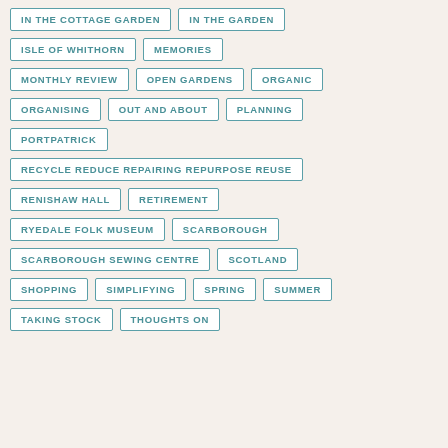IN THE COTTAGE GARDEN
IN THE GARDEN
ISLE OF WHITHORN
MEMORIES
MONTHLY REVIEW
OPEN GARDENS
ORGANIC
ORGANISING
OUT AND ABOUT
PLANNING
PORTPATRICK
RECYCLE REDUCE REPAIRING REPURPOSE REUSE
RENISHAW HALL
RETIREMENT
RYEDALE FOLK MUSEUM
SCARBOROUGH
SCARBOROUGH SEWING CENTRE
SCOTLAND
SHOPPING
SIMPLIFYING
SPRING
SUMMER
TAKING STOCK
THOUGHTS ON